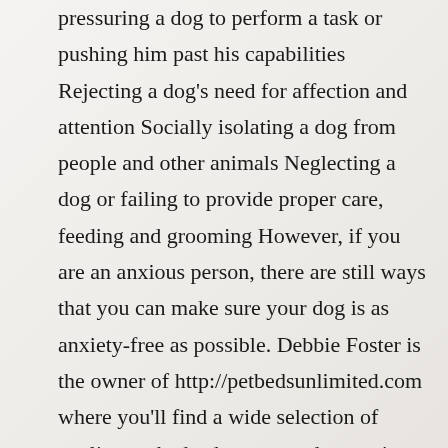pressuring a dog to perform a task or pushing him past his capabilities Rejecting a dog's need for affection and attention Socially isolating a dog from people and other animals Neglecting a dog or failing to provide proper care, feeding and grooming However, if you are an anxious person, there are still ways that you can make sure your dog is as anxiety-free as possible. Debbie Foster is the owner of http://petbedsunlimited.com where you'll find a wide selection of quality pet beds, dog crates, dog carriers, dog pens, large dog beds, cat beds, cat carriers, pet strollers and more. A dog is an animal and does not possess the same reasoning skills as a human. Do not put a mask on pets. Even disciplining your children loudly can have an adverse impact